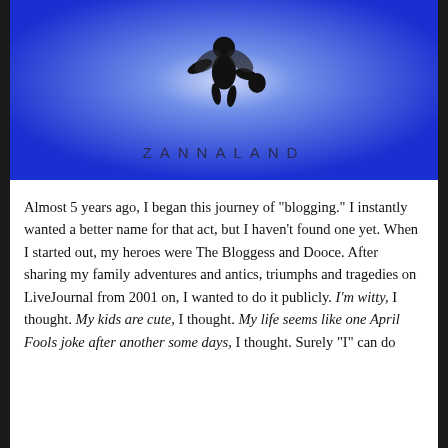[Figure (logo): Zannaland blog logo: blue radial gradient background with a black silhouette of a fairy/pixie figure in the center, and the text 'ZANNALAND' in spaced capital letters below]
Almost 5 years ago, I began this journey of "blogging." I instantly wanted a better name for that act, but I haven't found one yet. When I started out, my heroes were The Bloggess and Dooce. After sharing my family adventures and antics, triumphs and tragedies on LiveJournal from 2001 on, I wanted to do it publicly. I'm witty, I thought. My kids are cute, I thought. My life seems like one April Fools joke after another some days, I thought. Surely "I" can do